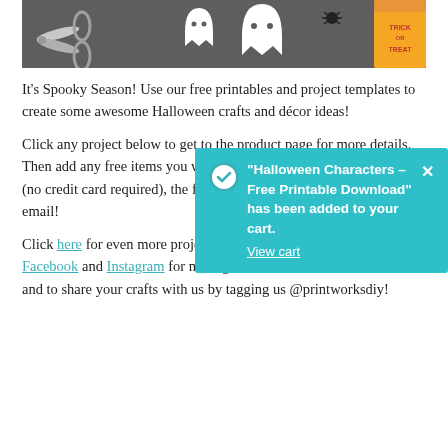[Figure (photo): Photo of Halloween craft supplies on dark gray background: scissors on the left, two white ghost cutouts in the middle, a spider, and a Trick or Treat orange box on the right.]
It's Spooky Season! Use our free printables and project templates to create some awesome Halloween crafts and décor ideas!
Click any project below to get to the product page for more details. Then add any free items you want to your cart. When you checkout (no credit card required), the free downloads will be sent to your email!
[Figure (screenshot): Teal toast notification popup: checkmark icon followed by text '"Halloween Characters – Free Printable Download" has been added to your cart.' with a 'View cart' link and an X close button.]
Click here for even more project ideas! Be sure to follow us on Facebook and Instagram for more great ideas from fellow crafters, and to share your crafts with us by tagging us @printworksdiy!